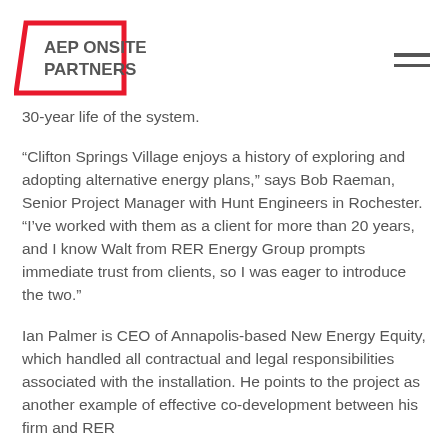AEP ONSITE PARTNERS
30-year life of the system.
“Clifton Springs Village enjoys a history of exploring and adopting alternative energy plans,” says Bob Raeman, Senior Project Manager with Hunt Engineers in Rochester. “I’ve worked with them as a client for more than 20 years, and I know Walt from RER Energy Group prompts immediate trust from clients, so I was eager to introduce the two.”
Ian Palmer is CEO of Annapolis-based New Energy Equity, which handled all contractual and legal responsibilities associated with the installation. He points to the project as another example of effective co-development between his firm and RER